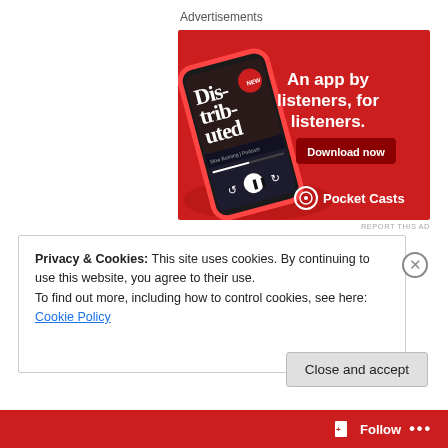Advertisements
[Figure (illustration): Pocket Casts advertisement on red background showing a smartphone with the app open displaying 'Distributed' podcast episode. Text reads 'An app by listeners, for listeners.' with a 'Download now' button and Pocket Casts logo.]
REPORT THIS AD
Privacy & Cookies: This site uses cookies. By continuing to use this website, you agree to their use.
To find out more, including how to control cookies, see here: Cookie Policy
Close and accept
Follow